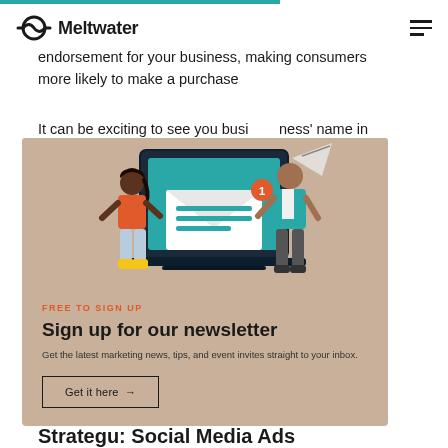Meltwater
endorsement for your business, making consumers more likely to make a purchase
It can be exciting to see your business' name in
[Figure (illustration): Newsletter signup card with illustration showing two people flanking a laptop displaying an email/envelope graphic with a notification badge]
FREE TO SIGN UP
Sign up for our newsletter
Get the latest marketing news, tips, and event invites straight to your inbox.
Get it here →
Strategy: Social Media Ads